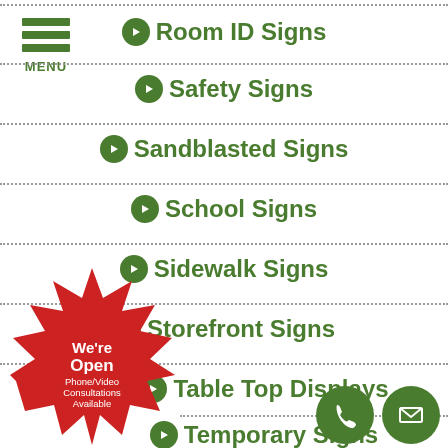[Figure (logo): Green hamburger menu icon with three horizontal bars and MENU label]
Room ID Signs
Safety Signs
Sandblasted Signs
School Signs
Sidewalk Signs
Storefront Signs
Table Top Displays
Temporary Signs
[Figure (illustration): Red starburst badge with text: We're Open Phone/Video Consultations Available]
[Figure (illustration): Two green circles: phone handset icon and envelope/email icon]